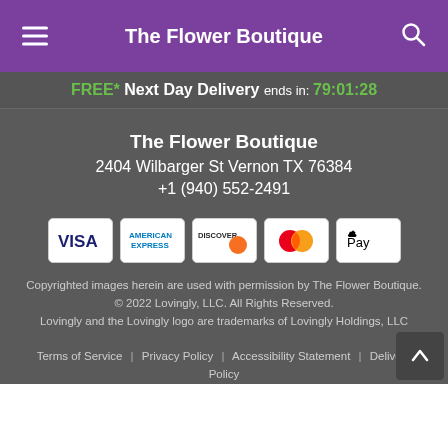The Flower Boutique
FREE* Next Day Delivery ends in: 79:01:28
The Flower Boutique
2404 Wilbarger St Vernon TX 76384
+1 (940) 552-2491
[Figure (other): Payment method icons: Visa, American Express, Discover, Mastercard, Apple Pay]
Copyrighted images herein are used with permission by The Flower Boutique.
© 2022 Lovingly, LLC. All Rights Reserved.
Lovingly and the Lovingly logo are trademarks of Lovingly Holdings, LLC
Terms of Service | Privacy Policy | Accessibility Statement | Delivery Policy